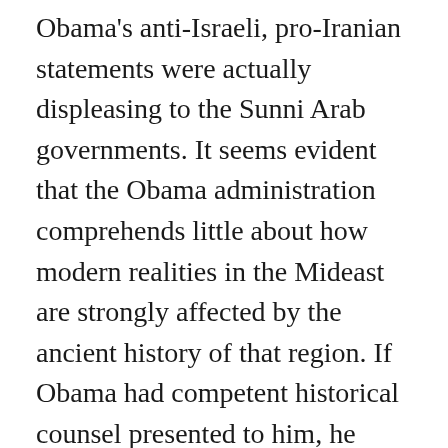Obama's anti-Israeli, pro-Iranian statements were actually displeasing to the Sunni Arab governments. It seems evident that the Obama administration comprehends little about how modern realities in the Mideast are strongly affected by the ancient history of that region. If Obama had competent historical counsel presented to him, he would understand that the Persians (Iranians) once ruled over the Arabs and the experience was not a pleasant one for the Arabs. However, the Sunni Arabs remember this (even if Obama is unaware of it), and they have no desire to ever